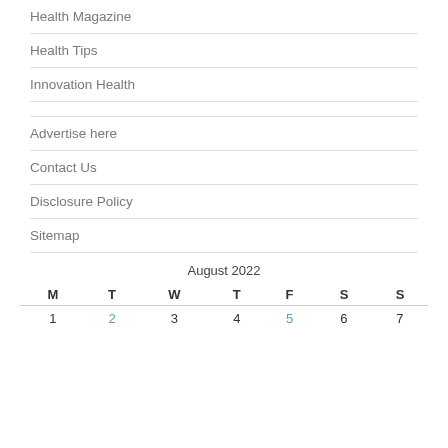Health Magazine
Health Tips
Innovation Health
Advertise here
Contact Us
Disclosure Policy
Sitemap
| M | T | W | T | F | S | S |
| --- | --- | --- | --- | --- | --- | --- |
| 1 | 2 | 3 | 4 | 5 | 6 | 7 |